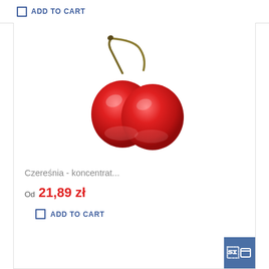ADD TO CART
[Figure (photo): Two red cherries with stems joined together, on a white background]
Czereśnia - koncentrat...
Od 21,89 zł
ADD TO CART